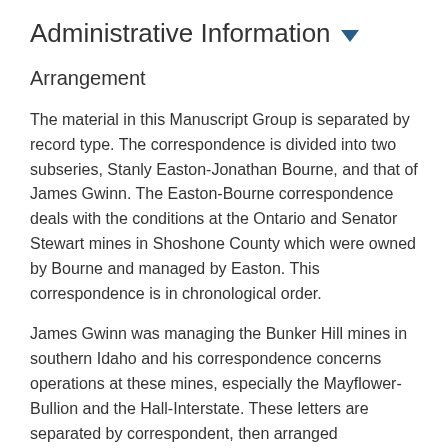Administrative Information ▼
Arrangement
The material in this Manuscript Group is separated by record type. The correspondence is divided into two subseries, Stanly Easton-Jonathan Bourne, and that of James Gwinn. The Easton-Bourne correspondence deals with the conditions at the Ontario and Senator Stewart mines in Shoshone County which were owned by Bourne and managed by Easton. This correspondence is in chronological order.
James Gwinn was managing the Bunker Hill mines in southern Idaho and his correspondence concerns operations at these mines, especially the Mayflower-Bullion and the Hall-Interstate. These letters are separated by correspondent, then arranged